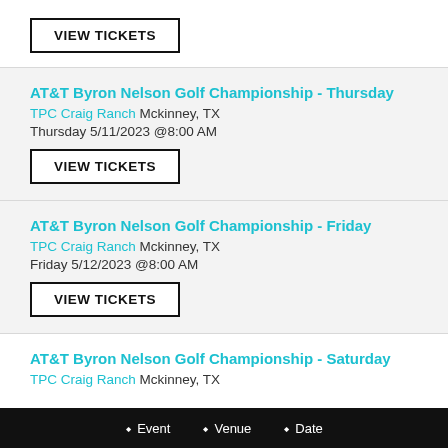VIEW TICKETS
AT&T Byron Nelson Golf Championship - Thursday
TPC Craig Ranch Mckinney, TX
Thursday 5/11/2023 @8:00 AM
VIEW TICKETS
AT&T Byron Nelson Golf Championship - Friday
TPC Craig Ranch Mckinney, TX
Friday 5/12/2023 @8:00 AM
VIEW TICKETS
AT&T Byron Nelson Golf Championship - Saturday
TPC Craig Ranch Mckinney, TX
Event  Venue  Date